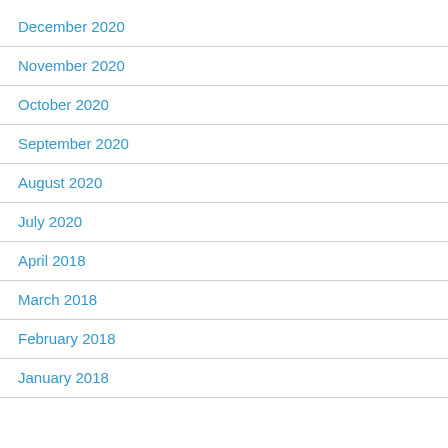December 2020
November 2020
October 2020
September 2020
August 2020
July 2020
April 2018
March 2018
February 2018
January 2018